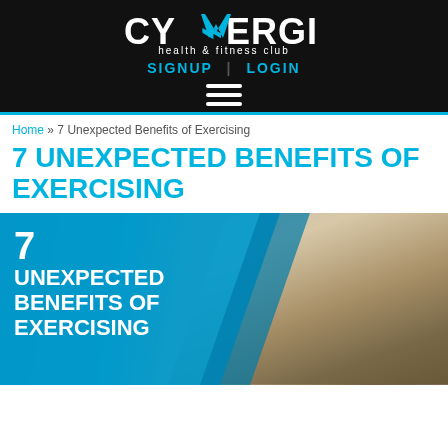CYNERGI health & fitness club — SIGNUP | LOGIN
Home » 7 Unexpected Benefits of Exercising
7 UNEXPECTED BENEFITS OF EXERCISING
[Figure (photo): Feature image showing a man in athletic wear leaning forward in a runner's stance outdoors, with a blue polygon/chevron overlay on the left containing white bold text: '7 UNEXPECTED BENEFITS OF EXERCISING']